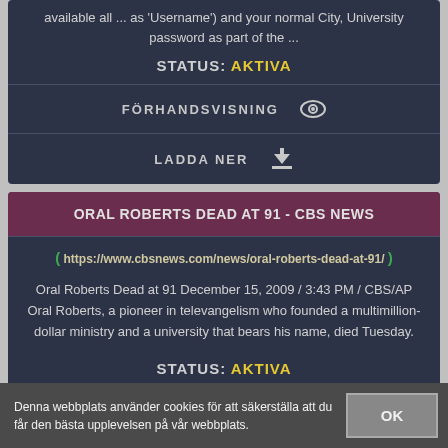available all ... as 'Username') and your normal City, University password as part of the ...
STATUS: AKTIVA
FÖRHANDSVISNING 👁
LADDA NER ⬇
ORAL ROBERTS DEAD AT 91 - CBS NEWS
https://www.cbsnews.com/news/oral-roberts-dead-at-91/
Oral Roberts Dead at 91 December 15, 2009 / 3:43 PM / CBS/AP Oral Roberts, a pioneer in televangelism who founded a multimillion-dollar ministry and a university that bears his name, died Tuesday.
STATUS: AKTIVA
Denna webbplats använder cookies för att säkerställa att du får den bästa upplevelsen på vår webbplats.